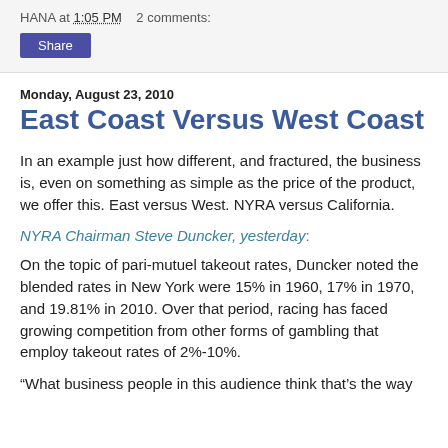HANA at 1:05 PM    2 comments:
Share
Monday, August 23, 2010
East Coast Versus West Coast
In an example just how different, and fractured, the business is, even on something as simple as the price of the product, we offer this. East versus West. NYRA versus California.
NYRA Chairman Steve Duncker, yesterday:
On the topic of pari-mutuel takeout rates, Duncker noted the blended rates in New York were 15% in 1960, 17% in 1970, and 19.81% in 2010. Over that period, racing has faced growing competition from other forms of gambling that employ takeout rates of 2%-10%.
“What business people in this audience think that’s the way